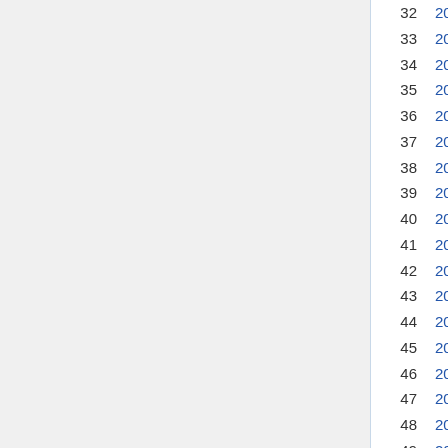| # | Date |
| --- | --- |
| 32 | 2021-06-02 |
| 33 | 2021-06-01 |
| 34 | 2021-05-31 |
| 35 | 2021-05-29 |
| 36 | 2021-05-28 |
| 37 | 2021-05-27 |
| 38 | 2021-05-26 |
| 39 | 2021-05-25 |
| 40 | 2021-05-24 |
| 41 | 2021-05-23 |
| 42 | 2021-05-22 |
| 43 | 2021-05-21 |
| 44 | 2021-05-20 |
| 45 | 2021-05-19 |
| 46 | 2021-05-18 |
| 47 | 2021-05-17 |
| 48 | 2021-05-16 |
| 49 | 2021-05-15 |
| 50 | 2021-05-14 |
| 51 | 2021-05-13 |